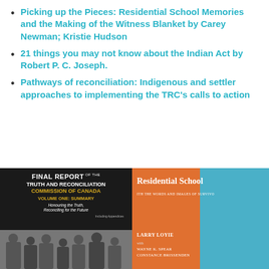Picking up the Pieces: Residential School Memories and the Making of the Witness Blanket by Carey Newman; Kristie Hudson
21 things you may not know about the Indian Act by Robert P. C. Joseph.
Pathways of reconciliation: Indigenous and settler approaches to implementing the TRC's calls to action
[Figure (photo): Book cover: Final Report of the Truth and Reconciliation Commission of Canada, Volume One: Summary. Honouring the Truth, Reconciling for the Future. Dark background with photo of children.]
[Figure (photo): Book cover: Residential School. With the Words and Images of Survivors. By Larry Loyie with Wayne K. Spear and Constance Brissenden. Orange and blue cover.]